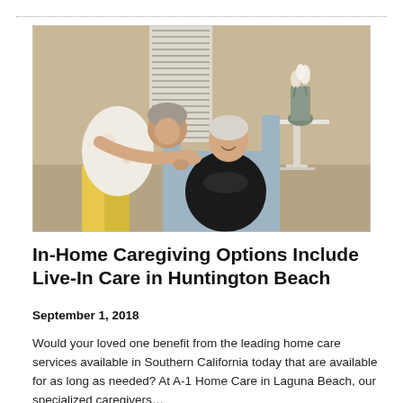[Figure (photo): A caregiver leaning over an elderly woman seated in a chair, both smiling warmly at each other. A white pedestal table with a flower vase is visible in the background.]
In-Home Caregiving Options Include Live-In Care in Huntington Beach
September 1, 2018
Would your loved one benefit from the leading home care services available in Southern California today that are available for as long as needed? At A-1 Home Care in Laguna Beach, our specialized caregivers…